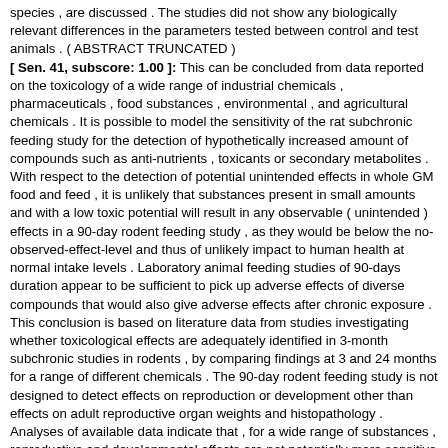species , are discussed . The studies did not show any biologically relevant differences in the parameters tested between control and test animals . ( ABSTRACT TRUNCATED ) [ Sen. 41, subscore: 1.00 ]: This can be concluded from data reported on the toxicology of a wide range of industrial chemicals , pharmaceuticals , food substances , environmental , and agricultural chemicals . It is possible to model the sensitivity of the rat subchronic feeding study for the detection of hypothetically increased amount of compounds such as anti-nutrients , toxicants or secondary metabolites . With respect to the detection of potential unintended effects in whole GM food and feed , it is unlikely that substances present in small amounts and with a low toxic potential will result in any observable ( unintended ) effects in a 90-day rodent feeding study , as they would be below the no-observed-effect-level and thus of unlikely impact to human health at normal intake levels . Laboratory animal feeding studies of 90-days duration appear to be sufficient to pick up adverse effects of diverse compounds that would also give adverse effects after chronic exposure . This conclusion is based on literature data from studies investigating whether toxicological effects are adequately identified in 3-month subchronic studies in rodents , by comparing findings at 3 and 24 months for a range of different chemicals . The 90-day rodent feeding study is not designed to detect effects on reproduction or development other than effects on adult reproductive organ weights and histopathology . Analyses of available data indicate that , for a wide range of substances , reproductive and developmental effects are not potentially more sensitive endpoints than those examined in subchronic toxicity tests . Should there be structural alerts for reproductive/developmental effects or other indications from data available on a GM food and feed , then these tests should be considered . By relating the estimated daily intake , or theoretical maximum daily